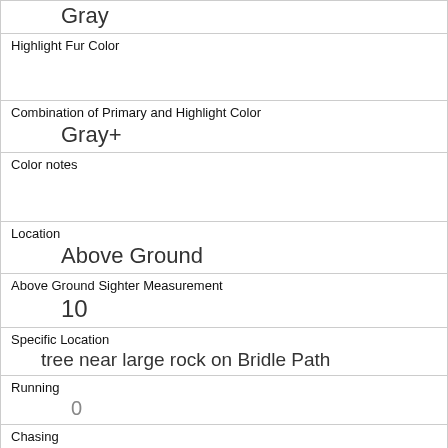| Gray |
| Highlight Fur Color
 |
| Combination of Primary and Highlight Color
Gray+ |
| Color notes
 |
| Location
Above Ground |
| Above Ground Sighter Measurement
10 |
| Specific Location
tree near large rock on Bridle Path |
| Running
0 |
| Chasing
0 |
| Climbing
0 |
| Eating
0 |